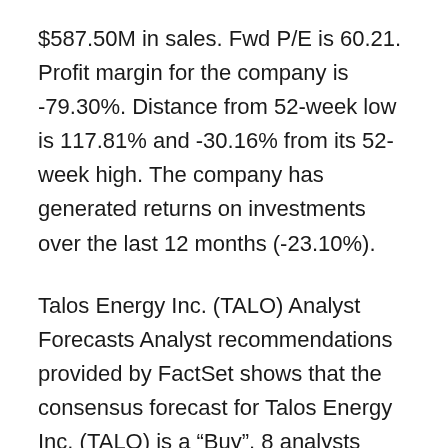$587.50M in sales. Fwd P/E is 60.21. Profit margin for the company is -79.30%. Distance from 52-week low is 117.81% and -30.16% from its 52-week high. The company has generated returns on investments over the last 12 months (-23.10%).
Talos Energy Inc. (TALO) Analyst Forecasts Analyst recommendations provided by FactSet shows that the consensus forecast for Talos Energy Inc. (TALO) is a “Buy”. 8 analysts offering their recommendations for the stock have an average rating of 1.90, where 1 rate it as a Hold and 1 think it is a “Overweight”. 6 of the analysts rate the stock as a “Buy”. 0 analysts have rated